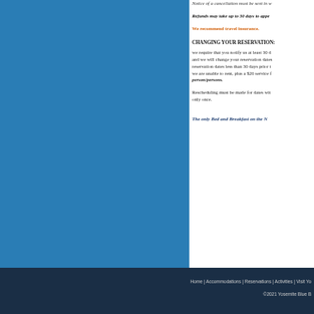Notice of a cancellation must be sent in w
Refunds may take up to 30 days to appe
We recommend travel insurance.
CHANGING YOUR RESERVATION:
we require that you notify us at least 30 d and we will change your reservation dates reservation dates less than 30 days prior t we are unable to rent, plus a $20 service f person/persons.
Rescheduling must be made for dates wit only once.
The only Bed and Breakfast on the N
Home | Accommodations | Reservations | Activities | Visit Yo
©2021 Yosemite Blue B